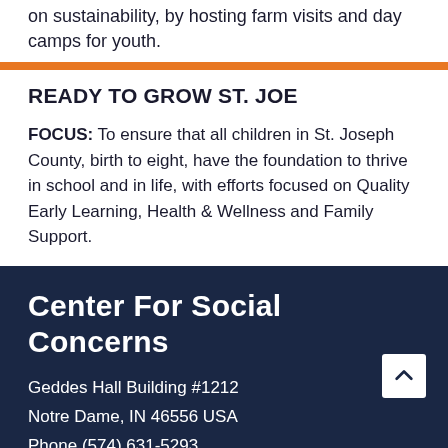on sustainability, by hosting farm visits and day camps for youth.
READY TO GROW ST. JOE
FOCUS: To ensure that all children in St. Joseph County, birth to eight, have the foundation to thrive in school and in life, with efforts focused on Quality Early Learning, Health & Wellness and Family Support.
1  2  next ›  last »
Center For Social Concerns
Geddes Hall Building #1212
Notre Dame, IN 46556 USA
Phone (574) 631-5293